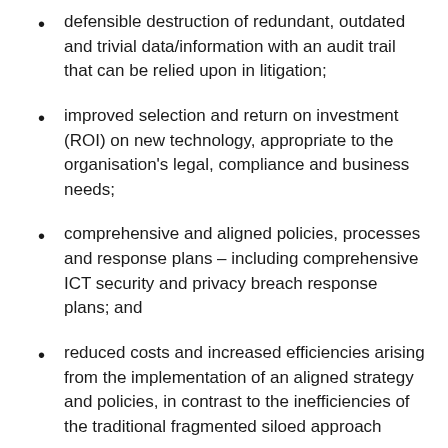defensible destruction of redundant, outdated and trivial data/information with an audit trail that can be relied upon in litigation;
improved selection and return on investment (ROI) on new technology, appropriate to the organisation's legal, compliance and business needs;
comprehensive and aligned policies, processes and response plans – including comprehensive ICT security and privacy breach response plans; and
reduced costs and increased efficiencies arising from the implementation of an aligned strategy and policies, in contrast to the inefficiencies of the traditional fragmented siloed approach